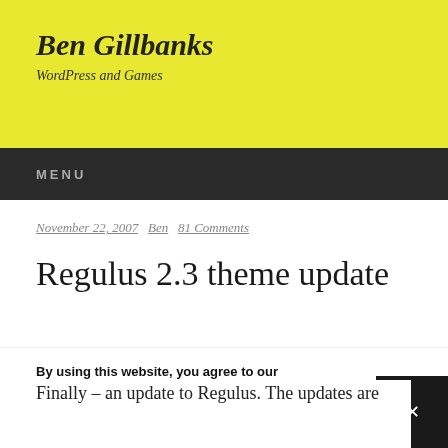Ben Gillbanks
WordPress and Games
MENU
November 22, 2007  Ben  81 Comments
Regulus 2.3 theme update
By using this website, you agree to our Privacy Policy
Finally – an update to Regulus. The updates are